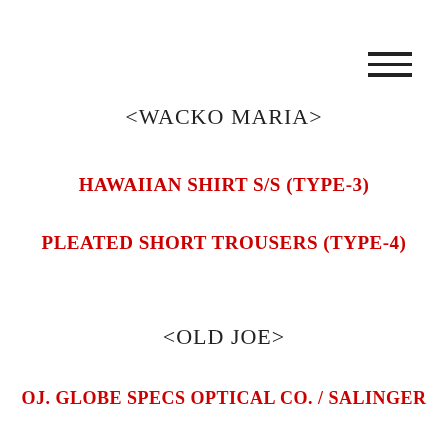[Figure (other): Hamburger menu icon with three horizontal lines in the top right corner]
<WACKO MARIA>
HAWAIIAN SHIRT S/S (TYPE-3)
PLEATED SHORT TROUSERS (TYPE-4)
<OLD JOE>
OJ. GLOBE SPECS OPTICAL CO. / SALINGER